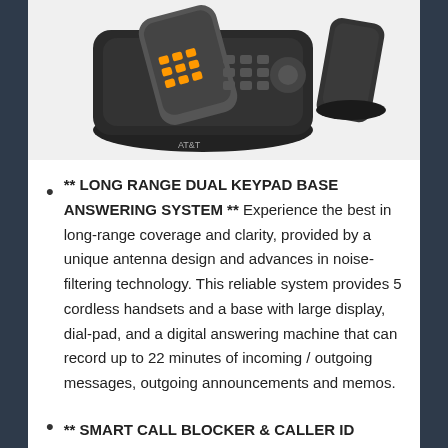[Figure (photo): AT&T cordless phone system with dual keypad base and multiple handsets on charging bases, shown from above/front angle against white background]
** LONG RANGE DUAL KEYPAD BASE ANSWERING SYSTEM ** Experience the best in long-range coverage and clarity, provided by a unique antenna design and advances in noise-filtering technology. This reliable system provides 5 cordless handsets and a base with large display, dial-pad, and a digital answering machine that can record up to 22 minutes of incoming / outgoing messages, outgoing announcements and memos.
** SMART CALL BLOCKER & CALLER ID ANNOUNCE ** Say goodbye to unwanted calls